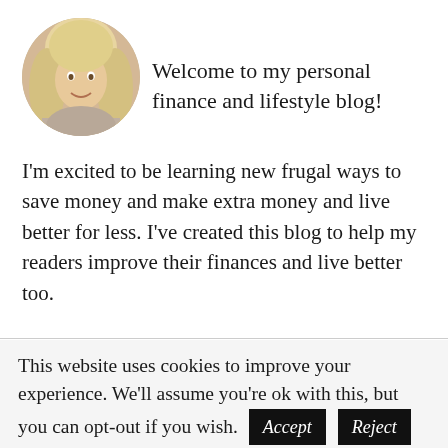[Figure (photo): Circular avatar photo of a blonde woman smiling]
Welcome to my personal finance and lifestyle blog!
I'm excited to be learning new frugal ways to save money and make extra money and live better for less. I've created this blog to help my readers improve their finances and live better too.
This website uses cookies to improve your experience. We'll assume you're ok with this, but you can opt-out if you wish. Accept  Reject  Read More